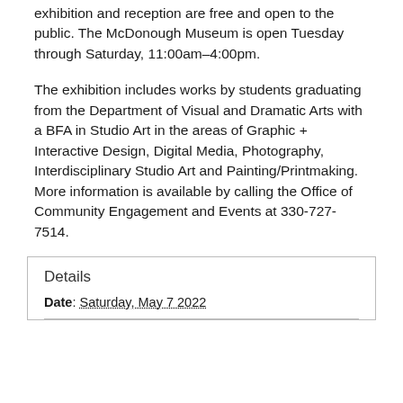exhibition and reception are free and open to the public. The McDonough Museum is open Tuesday through Saturday, 11:00am–4:00pm.
The exhibition includes works by students graduating from the Department of Visual and Dramatic Arts with a BFA in Studio Art in the areas of Graphic + Interactive Design, Digital Media, Photography, Interdisciplinary Studio Art and Painting/Printmaking. More information is available by calling the Office of Community Engagement and Events at 330-727-7514.
Details
Date: Saturday, May 7 2022